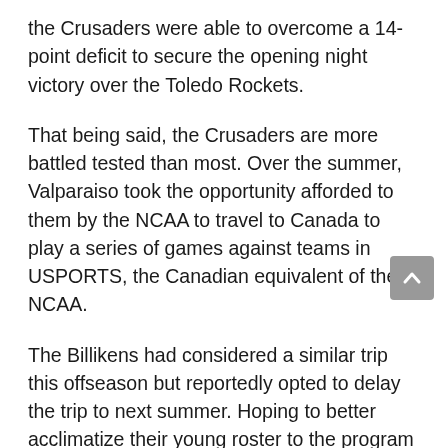the Crusaders were able to overcome a 14-point deficit to secure the opening night victory over the Toledo Rockets.
That being said, the Crusaders are more battled tested than most. Over the summer, Valparaiso took the opportunity afforded to them by the NCAA to travel to Canada to play a series of games against teams in USPORTS, the Canadian equivalent of the NCAA.
The Billikens had considered a similar trip this offseason but reportedly opted to delay the trip to next summer. Hoping to better acclimatize their young roster to the program before taking them on a significant excursion.
The trip north included four exhibition games against teams in two provinces, beating Concordia, McGill, and the University of Quebec. The truly impressive feat of the four-game trip was a tight, unexpected victory over the Carleton